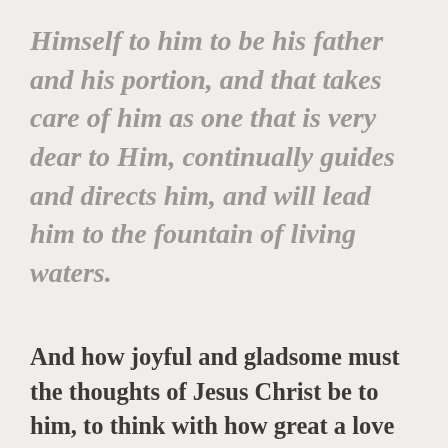Himself to him to be his father and his portion, and that takes care of him as one that is very dear to Him, continually guides and directs him, and will lead him to the fountain of living waters.
And how joyful and gladsome must the thoughts of Jesus Christ be to him, to think with how great a love Christ has loved him, even to lay down His life and suffer the most bitter torments for his sake, Who also now continually intercedes for him at the